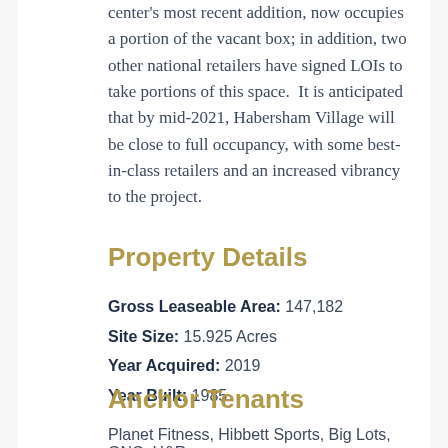center's most recent addition, now occupies a portion of the vacant box; in addition, two other national retailers have signed LOIs to take portions of this space.  It is anticipated that by mid-2021, Habersham Village will be close to full occupancy, with some best-in-class retailers and an increased vibrancy to the project.
Property Details
Gross Leaseable Area: 147,182
Site Size: 15.925 Acres
Year Acquired: 2019
Year Built: 1985
Anchor Tenants
Planet Fitness, Hibbett Sports, Big Lots, GNC, H&R...